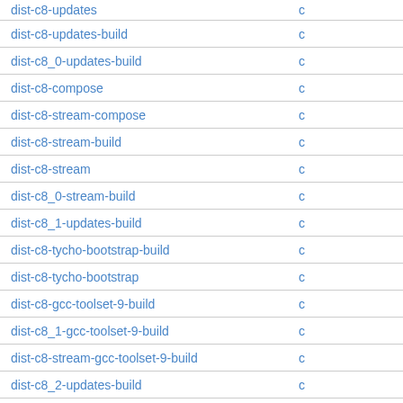| Name |  |
| --- | --- |
| dist-c8-updates | c |
| dist-c8-updates-build | c |
| dist-c8_0-updates-build | c |
| dist-c8-compose | c |
| dist-c8-stream-compose | c |
| dist-c8-stream-build | c |
| dist-c8-stream | c |
| dist-c8_0-stream-build | c |
| dist-c8_1-updates-build | c |
| dist-c8-tycho-bootstrap-build | c |
| dist-c8-tycho-bootstrap | c |
| dist-c8-gcc-toolset-9-build | c |
| dist-c8_1-gcc-toolset-9-build | c |
| dist-c8-stream-gcc-toolset-9-build | c |
| dist-c8_2-updates-build | c |
| module-centos-8.2.0-build | c |
| dist-c8_2-updates-build | c |